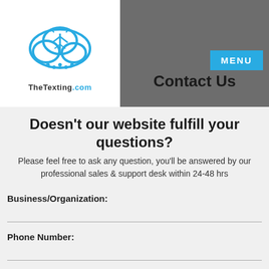[Figure (logo): TheTexting.com logo — cloud with antenna icon and dots, blue color, with site name below]
Contact Us
Doesn't our website fulfill your questions?
Please feel free to ask any question, you'll be answered by our professional sales & support desk within 24-48 hrs
Business/Organization:
Phone Number:
Email:
Subject: